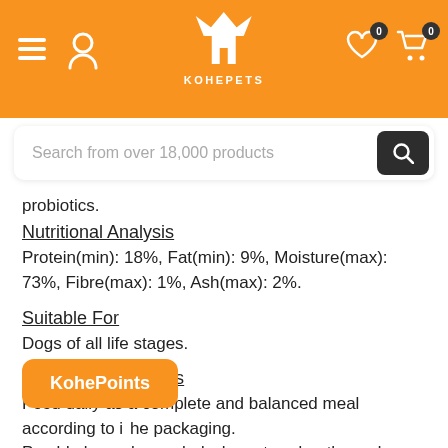KOHEPETS — Search from over 18,000 products
probiotics.
Nutritional Analysis
Protein(min): 18%, Fat(min): 9%, Moisture(max): 73%, Fibre(max): 1%, Ash(max): 2%.
Suitable For
Dogs of all life stages.
Feeding Instructions
Feed daily as a complete and balanced meal according to instructions on the packaging. Product should always be sealed when stored or thawed.